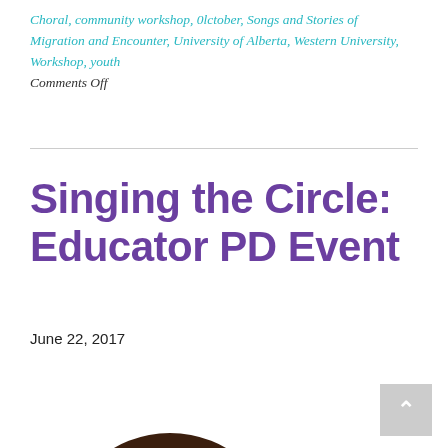Choral, community workshop, 0lctober, Songs and Stories of Migration and Encounter, University of Alberta, Western University, Workshop, youth
Comments Off
Singing the Circle: Educator PD Event
June 22, 2017
[Figure (logo): Circular logo with concentric arcs in brown, teal, orange, yellow and red forming a dome shape with a small bird/figure at the center bottom]